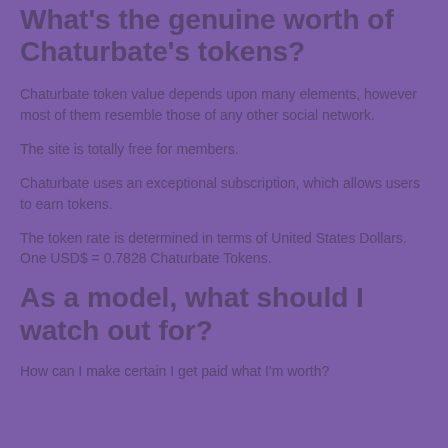What's the genuine worth of Chaturbate's tokens?
Chaturbate token value depends upon many elements, however most of them resemble those of any other social network.
The site is totally free for members.
Chaturbate uses an exceptional subscription, which allows users to earn tokens.
The token rate is determined in terms of United States Dollars. One USD$ = 0.7828 Chaturbate Tokens.
As a model, what should I watch out for?
How can I make certain I get paid what I'm worth?